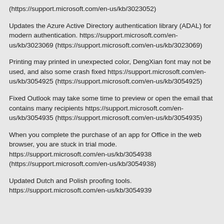(https://support.microsoft.com/en-us/kb/3023052)
Updates the Azure Active Directory authentication library (ADAL) for modern authentication. https://support.microsoft.com/en-us/kb/3023069 (https://support.microsoft.com/en-us/kb/3023069)
Printing may printed in unexpected color, DengXian font may not be used, and also some crash fixed https://support.microsoft.com/en-us/kb/3054925 (https://support.microsoft.com/en-us/kb/3054925)
Fixed Outlook may take some time to preview or open the email that contains many recipients https://support.microsoft.com/en-us/kb/3054935 (https://support.microsoft.com/en-us/kb/3054935)
When you complete the purchase of an app for Office in the web browser, you are stuck in trial mode. https://support.microsoft.com/en-us/kb/3054938 (https://support.microsoft.com/en-us/kb/3054938)
Updated Dutch and Polish proofing tools. https://support.microsoft.com/en-us/kb/3054939